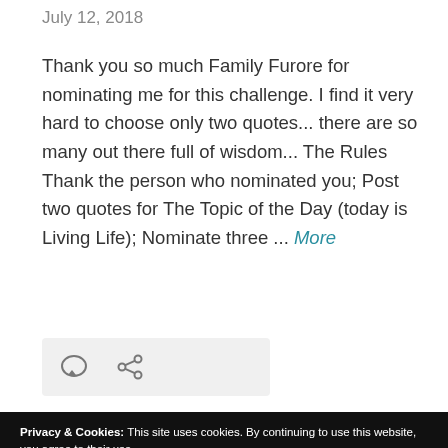July 12, 2018
Thank you so much Family Furore for nominating me for this challenge. I find it very hard to choose only two quotes... there are so many out there full of wisdom... The Rules Thank the person who nominated you; Post two quotes for The Topic of the Day (today is Living Life); Nominate three ... More
[Figure (other): Icon bar with comment bubble and share/link icons on a light grey background]
Privacy & Cookies: This site uses cookies. By continuing to use this website, you agree to their use.
To find out more, including how to control cookies, see here: Cookie Policy
Close and accept